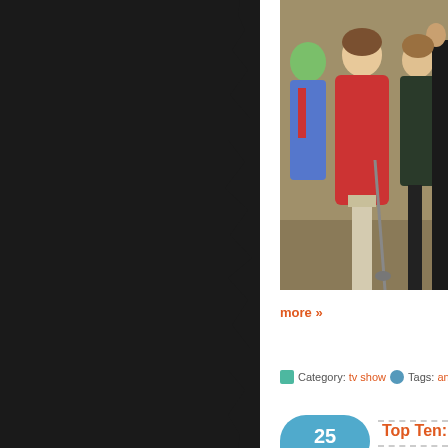[Figure (photo): Group of TV show characters standing together; one person wearing a red hoodie holding a staff, another with green face makeup in a blue suit, and two others in background]
more »
Category: tv show   Tags: angel, fandom
25
Feb 2014
Top Ten: Times Jo